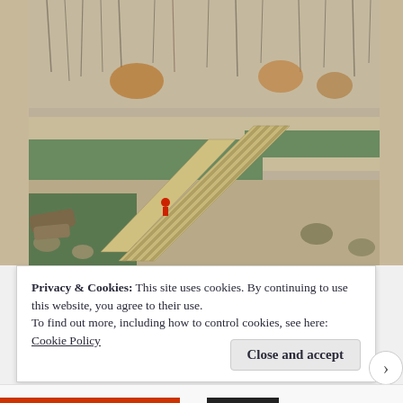[Figure (photo): Aerial view of a wooden boardwalk/footbridge crossing a green river or stream, surrounded by bare winter trees and shrubs, with sandy banks and dry vegetation. A person in red jacket is visible on the bridge.]
Privacy & Cookies: This site uses cookies. By continuing to use this website, you agree to their use.
To find out more, including how to control cookies, see here:
Cookie Policy
Close and accept